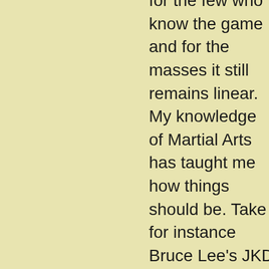for the few who know the game and for the masses it still remains linear. My knowledge of Martial Arts has taught me how things should be. Take for instance Bruce Lee's JKD and the five ways of attack, these tell us how to mix it up and kick ass. Then you have the barrier removal strategies from Wing Chun Kung Fu which can be